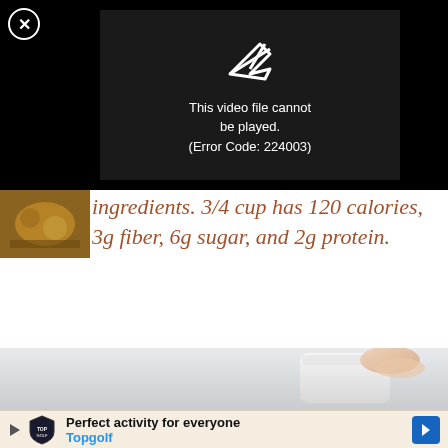[Figure (screenshot): Black video player area with error message: 'This video file cannot be played. (Error Code: 224003)' with a broken video icon, and a close (X) button in top-left corner.]
ingredients. 3/4 cup has 120 calories, 3g fiber, 6g sugar, and 2g protein.
[Figure (photo): Photo of a hand holding a white ceramic cup or container, light gray background.]
[Figure (screenshot): Advertisement banner: Topgolf logo with shield icon, text 'Perfect activity for everyone Topgolf', blue arrow icon on right, small play and X icons on left.]